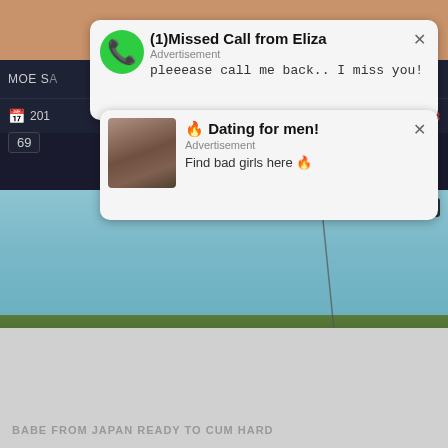[Figure (screenshot): Screenshot of a video website with two advertisement pop-up notifications overlaid on a dark UI. First ad: '(1)Missed Call from Eliza' with green phone icon, text 'pleeease call me back.. I miss you!'. Second ad: 'Dating for men!' with woman thumbnail, text 'Find bad girls here'. Background shows dark navigation bar with 'MOE SA...' text, date icon '201...', Tube8 branding, number badge '69', and a video thumbnail showing a tornado/waterspout over a highway with timer '5:29'. Bottom gray area shows text 'BABE FROM JAPAN READY TO CUM HARD'.]